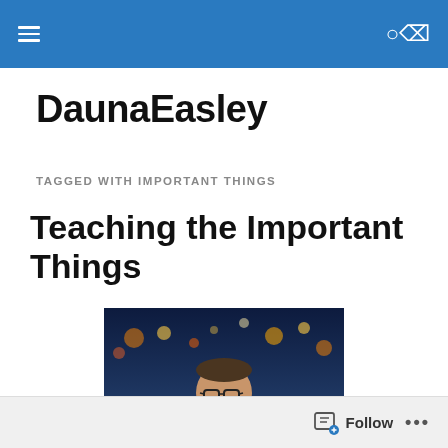[Navigation bar with hamburger menu and search icon]
DaunaEasley
TAGGED WITH IMPORTANT THINGS
Teaching the Important Things
[Figure (photo): A smiling man with glasses standing on a city street at night with bokeh city lights in the background]
Follow ...